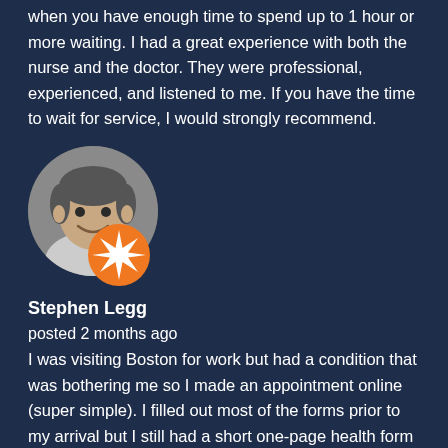when you have enough time to spend up to 1 hour or more waiting. I had a great experience with both the nurse and the doctor. They were professional, experienced, and listened to me. If you have the time to wait for service, I would strongly recommend.
[Figure (photo): Circular profile photo of a middle-aged man smiling, with an orange star badge overlay in the bottom right of the circle.]
Stephen Legg
posted 2 months ago
I was visiting Boston for work but had a condition that was bothering me so I made an appointment online (super simple). I filled out most of the forms prior to my arrival but I still had a short one-page health form to complete upon check in. All of the staff were great and my clinician, Greta, was super personable and explained everything to me in very clear ways and made sure that I was comfortable with